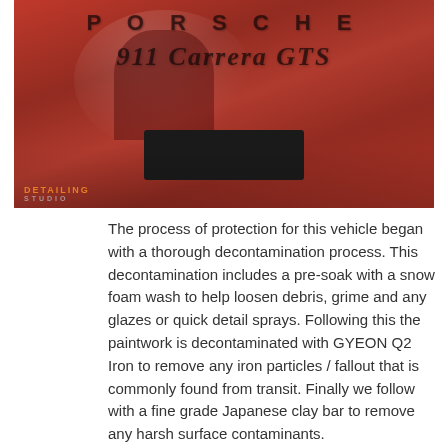[Figure (photo): Close-up photo of the rear of a red Porsche 911 Carrera GTS showing the PORSCHE and 911 Carrera GTS badges, license plate area, and a reflection. The Detailing Studio watermark appears in the lower left corner.]
The process of protection for this vehicle began with a thorough decontamination process. This decontamination includes a pre-soak with a snow foam wash to help loosen debris, grime and any glazes or quick detail sprays. Following this the paintwork is decontaminated with GYEON Q2 Iron to remove any iron particles / fallout that is commonly found from transit. Finally we follow with a fine grade Japanese clay bar to remove any harsh surface contaminants.
Our goal for paint correction is always to preserve the maximum amount of OEM clear coat, whilst minimising the visibility of any swirls or scratches. We